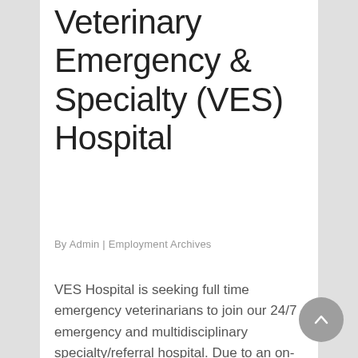Veterinary Emergency & Specialty (VES) Hospital
By Admin | Employment Archives
VES Hospital is seeking full time emergency veterinarians to join our 24/7 emergency and multidisciplinary specialty/referral hospital. Due to an on-going increase in our case load, we are looking for self-motivated, energetic, team-oriented individuals to